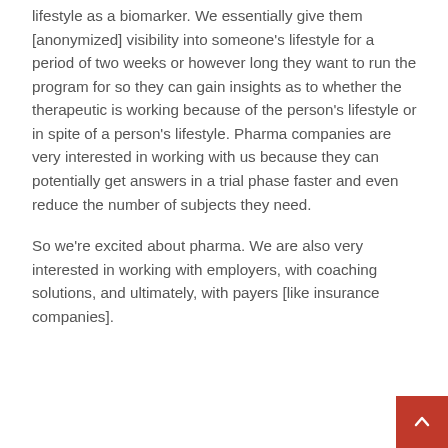lifestyle as a biomarker. We essentially give them [anonymized] visibility into someone's lifestyle for a period of two weeks or however long they want to run the program for so they can gain insights as to whether the therapeutic is working because of the person's lifestyle or in spite of a person's lifestyle. Pharma companies are very interested in working with us because they can potentially get answers in a trial phase faster and even reduce the number of subjects they need.
So we're excited about pharma. We are also very interested in working with employers, with coaching solutions, and ultimately, with payers [like insurance companies].